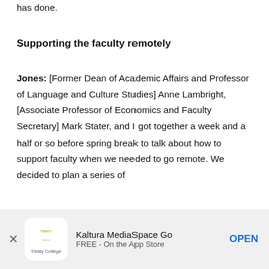has done.
Supporting the faculty remotely
Jones: [Former Dean of Academic Affairs and Professor of Language and Culture Studies] Anne Lambright, [Associate Professor of Economics and Faculty Secretary] Mark Stater, and I got together a week and a half or so before spring break to talk about how to support faculty when we needed to go remote. We decided to plan a series of
[Figure (other): App store advertisement banner for Kaltura MediaSpace Go app from Trinity College. Shows Trinity College logo, app name 'Kaltura MediaSpace Go', subtitle 'FREE - On the App Store', close button (X), and OPEN button.]